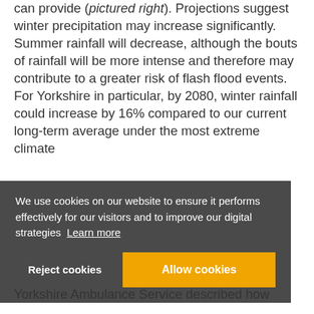can provide (pictured right). Projections suggest winter precipitation may increase significantly. Summer rainfall will decrease, although the bouts of rainfall will be more intense and therefore may contribute to a greater risk of flash flood events. For Yorkshire in particular, by 2080, winter rainfall could increase by 16% compared to our current long-term average under the most extreme climate
[Figure (screenshot): Cookie consent banner with dark grey background. Text reads: 'We use cookies on our website to ensure it performs effectively for our visitors and to improve our digital strategies Learn more'. Two buttons: 'Reject cookies' (text only) and 'Allow cookies' (orange button).]
Yorkshire Ambulance Service described how